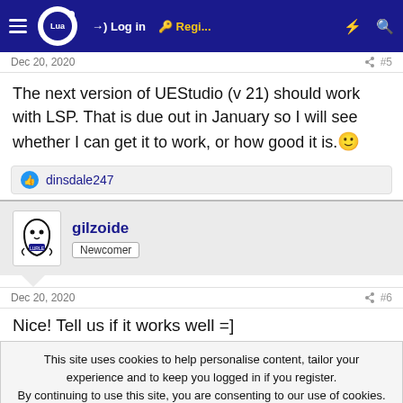Lua forum navigation bar with Log in, Register, and search icons
Dec 20, 2020  #5
The next version of UEStudio (v 21) should work with LSP. That is due out in January so I will see whether I can get it to work, or how good it is. 🙂
👍 dinsdale247
gilzoide  Newcomer
Dec 20, 2020  #6
Nice! Tell us if it works well =]
This site uses cookies to help personalise content, tailor your experience and to keep you logged in if you register.
By continuing to use this site, you are consenting to our use of cookies.
✓ Accept   Learn more...